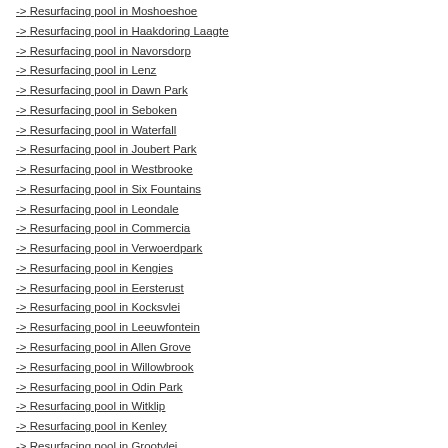-> Resurfacing pool in Moshoeshoe
-> Resurfacing pool in Haakdoring Laagte
-> Resurfacing pool in Navorsdorp
-> Resurfacing pool in Lenz
-> Resurfacing pool in Dawn Park
-> Resurfacing pool in Seboken
-> Resurfacing pool in Waterfall
-> Resurfacing pool in Joubert Park
-> Resurfacing pool in Westbrooke
-> Resurfacing pool in Six Fountains
-> Resurfacing pool in Leondale
-> Resurfacing pool in Commercia
-> Resurfacing pool in Verwoerdpark
-> Resurfacing pool in Kengies
-> Resurfacing pool in Eersterust
-> Resurfacing pool in Kocksvlei
-> Resurfacing pool in Leeuwfontein
-> Resurfacing pool in Allen Grove
-> Resurfacing pool in Willowbrook
-> Resurfacing pool in Odin Park
-> Resurfacing pool in Witklip
-> Resurfacing pool in Kenley
-> Resurfacing pool in Grootvlei